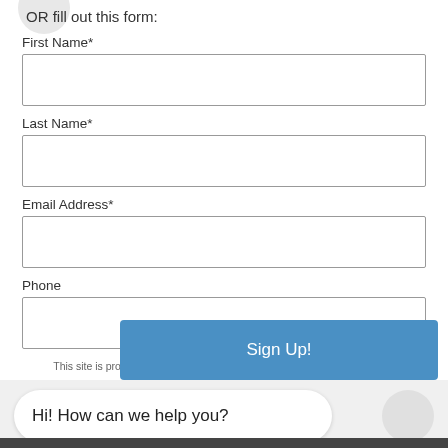OR fill out this form:
First Name*
Last Name*
Email Address*
Phone
This site is protected by reCAPTCHA and the Google Privacy Policy and Terms of Service apply.
Sign Up!
Hi! How can we help you?